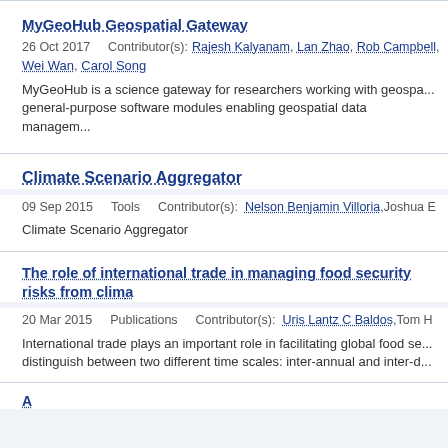MyGeoHub Geospatial Gateway
26 Oct 2017    Contributor(s): Rajesh Kalyanam, Lan Zhao, Rob Campbell, Wei Wan, Carol Song
MyGeoHub is a science gateway for researchers working with geospa... general-purpose software modules enabling geospatial data managem...
Climate Scenario Aggregator
09 Sep 2015    Tools    Contributor(s): Nelson Benjamin Villoria, Joshua E...
Climate Scenario Aggregator
The role of international trade in managing food security risks from clima...
20 Mar 2015    Publications    Contributor(s): Uris Lantz C Baldos, Tom H...
International trade plays an important role in facilitating global food se... distinguish between two different time scales: inter-annual and inter-d...